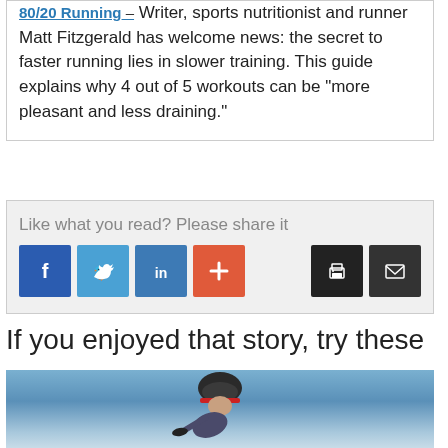80/20 Running – Writer, sports nutritionist and runner Matt Fitzgerald has welcome news: the secret to faster running lies in slower training. This guide explains why 4 out of 5 workouts can be "more pleasant and less draining."
Like what you read? Please share it
[Figure (infographic): Social sharing buttons: Facebook (blue), Twitter (light blue), LinkedIn (blue), plus/more (orange-red), print (black), email (dark)]
If you enjoyed that story, try these
[Figure (photo): Photo of a cyclist wearing a helmet, leaning forward on a bike, with a blue ocean/sky background]